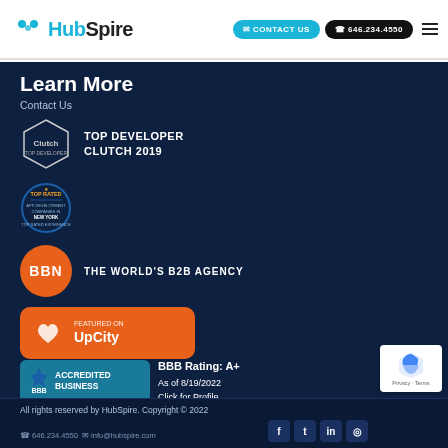HubSpire | CONTACT US | 646.234.4550
Learn More
Contact Us
[Figure (logo): Clutch Top Developer 2019 hexagon badge with text: TOP DEVELOPER CLUTCH 2019]
[Figure (logo): TopRated circle badge for app development]
[Figure (logo): BBN orange circle logo with text: THE WORLD'S B2B AGENCY]
[Figure (logo): Featured on UpCity orange badge]
[Figure (logo): BBB Accredited Business badge with BBB Rating: A+ As of 8/19/2022 Click for Profile]
All rights reserved by HubSpire. Copyright © 2022 | 646.234.4550 | info@hubspire.com | Privacy - Terms